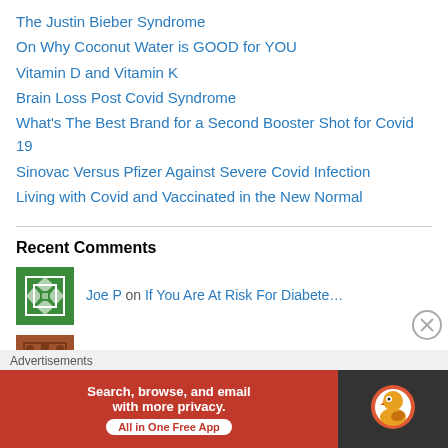The Justin Bieber Syndrome
On Why Coconut Water is GOOD for YOU
Vitamin D and Vitamin K
Brain Loss Post Covid Syndrome
What's The Best Brand for a Second Booster Shot for Covid 19
Sinovac Versus Pfizer Against Severe Covid Infection
Living with Covid and Vaccinated in the New Normal
Recent Comments
Joe P on If You Are At Risk For Diabete…
██████ on Sleep and Diabetes: Quality Ma…
Doc Gerry on Diabetes Care in the Philippin…
Advertisements